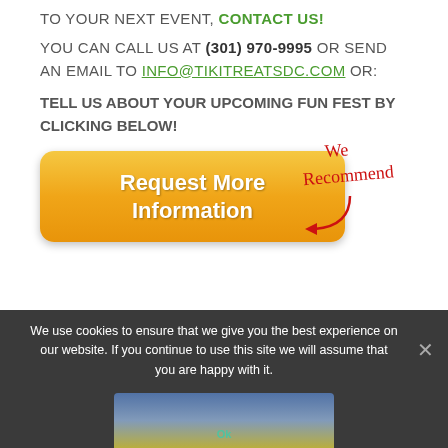TO YOUR NEXT EVENT, CONTACT US!
YOU CAN CALL US AT (301) 970-9995 OR SEND AN EMAIL TO INFO@TIKITREATSDC.COM OR:
TELL US ABOUT YOUR UPCOMING FUN FEST BY CLICKING BELOW!
[Figure (infographic): Orange gradient button reading 'Request More Information' with a red handwritten 'We Recommend' annotation and arrow pointing to the button]
We use cookies to ensure that we give you the best experience on our website. If you continue to use this site we will assume that you are happy with it.